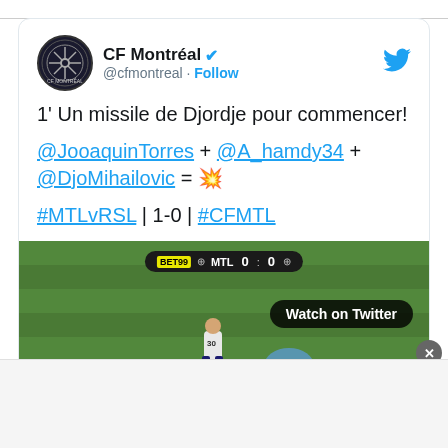CF Montréal @cfmontreal · Follow
1' Un missile de Djordje pour commencer!

@JooaquinTorres + @A_hamdy34 + @DjoMihailovic = 💥

#MTLvRSL | 1-0 | #CFMTL
[Figure (screenshot): Soccer match video thumbnail showing players on a green field with scoreboard showing BET99 MTL 0-0, with Watch on Twitter button overlay]